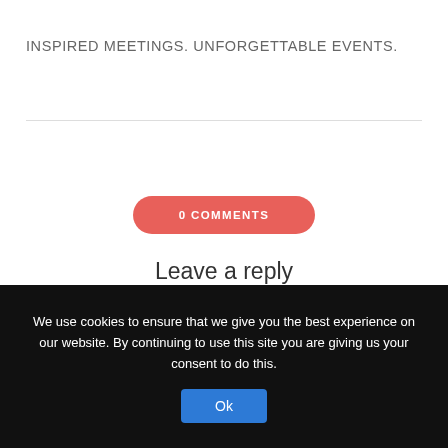INSPIRED MEETINGS. UNFORGETTABLE EVENTS.
0 COMMENTS
Leave a reply
You must be logged in to post a comment.
We use cookies to ensure that we give you the best experience on our website. By continuing to use this site you are giving us your consent to do this.
Ok